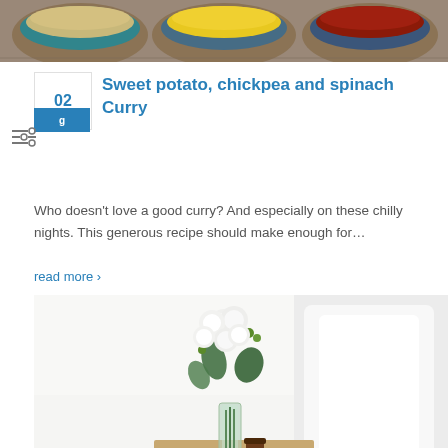[Figure (photo): Top image showing bowls of spices including tan/beige couscous or breadcrumbs, yellow turmeric powder, and red dried chilies on a woven mat background]
Sweet potato, chickpea and spinach Curry
Who doesn't love a good curry? And especially on these chilly nights. This generous recipe should make enough for…
read more >
[Figure (photo): Bottom image showing a glass vase with white flowers and green stems on a wooden surface next to a small brown jar, with white pillows and bedding in the background]